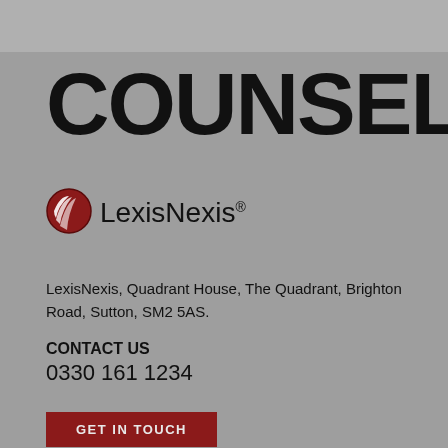COUNSEL
[Figure (logo): LexisNexis logo: red globe icon with white stripe lines, followed by text 'LexisNexis' with registered trademark symbol]
LexisNexis, Quadrant House, The Quadrant, Brighton Road, Sutton, SM2 5AS.
CONTACT US
0330 161 1234
GET IN TOUCH
Worldwide:
United Kingdom